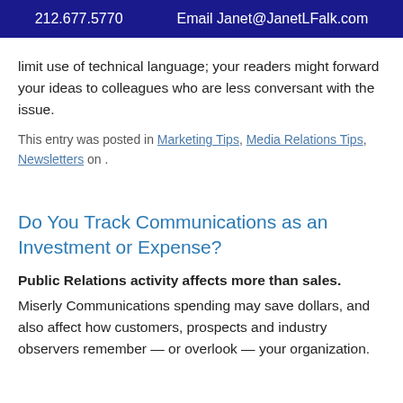212.677.5770   Email Janet@JanetLFalk.com
limit use of technical language; your readers might forward your ideas to colleagues who are less conversant with the issue.
This entry was posted in Marketing Tips, Media Relations Tips, Newsletters on .
Do You Track Communications as an Investment or Expense?
Public Relations activity affects more than sales. Miserly Communications spending may save dollars, and also affect how customers, prospects and industry observers remember — or overlook — your organization.